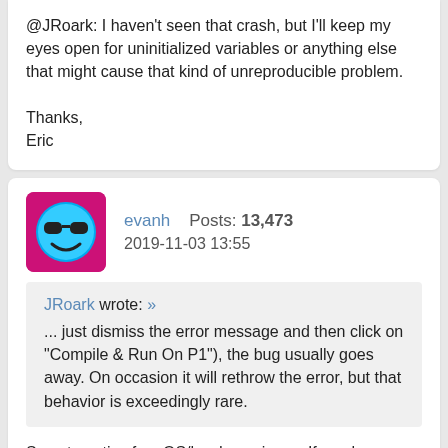@JRoark: I haven't seen that crash, but I'll keep my eyes open for uninitialized variables or anything else that might cause that kind of unreproducible problem.

Thanks,
Eric
evanh   Posts: 13,473
2019-11-03 13:55
JRoark wrote: »
... just dismiss the error message and then click on "Compile & Run On P1"), the bug usually goes away. On occasion it will rethrow the error, but that behavior is exceedingly rare.
Symptomatic of an OS/hardware issue. If you have another computer to compile it with, it'd be worth using that for a